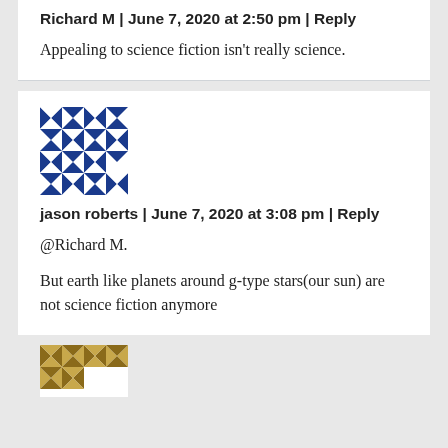Richard M | June 7, 2020 at 2:50 pm | Reply
Appealing to science fiction isn't really science.
[Figure (illustration): Blue and white geometric pattern avatar for user jason roberts]
jason roberts | June 7, 2020 at 3:08 pm | Reply
@Richard M.
But earth like planets around g-type stars(our sun) are not science fiction anymore
[Figure (illustration): Partial gold/brown geometric pattern avatar, bottom of page]